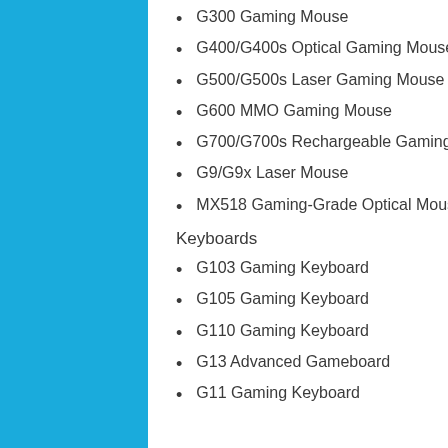G300 Gaming Mouse
G400/G400s Optical Gaming Mouse
G500/G500s Laser Gaming Mouse
G600 MMO Gaming Mouse
G700/G700s Rechargeable Gaming Mouse
G9/G9x Laser Mouse
MX518 Gaming-Grade Optical Mouse
Keyboards
G103 Gaming Keyboard
G105 Gaming Keyboard
G110 Gaming Keyboard
G13 Advanced Gameboard
G11 Gaming Keyboard